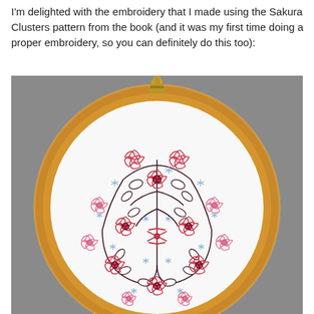I'm delighted with the embroidery that I made using the Sakura Clusters pattern from the book (and it was my first time doing a proper embroidery, so you can definitely do this too):
[Figure (photo): A photograph of an embroidery hoop held by a hand. The hoop has a gold/yellow wooden frame with a brass screw at the top. Inside the hoop is white fabric with a Sakura Clusters embroidery pattern: pink and dark cherry-red cherry blossom flowers arranged in a circular mandala-like design, with dark vine stems and small leaf shapes, and light blue star/asterisk accents scattered throughout. The background is a muted gray.]